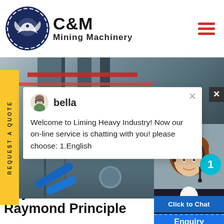[Figure (logo): C&M Mining Machinery logo with eagle/gear emblem in dark blue circle, company name in bold black text]
[Figure (photo): Industrial mining machinery/plant background photo with red horizontal bars]
REQUEST A QUOTE
[Figure (screenshot): Live chat popup with avatar named 'bella' saying 'Welcome to Liming Heavy Industry! Now our on-line service is chatting with you! please choose: 1.English']
[Figure (photo): Lower section showing industrial machinery with blue pipes]
[Figure (photo): Customer service representative (woman with headset) on right side with teal badge showing '1']
Click to Chat
Enquiry
Raymond Mill Raymond Principle